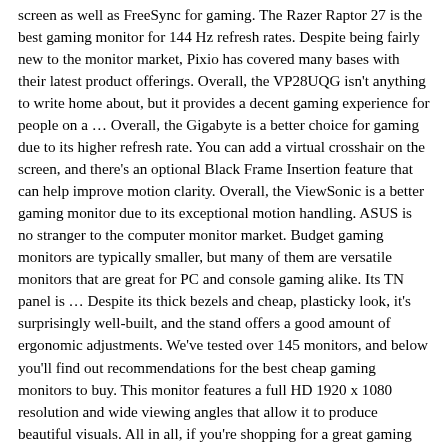screen as well as FreeSync for gaming. The Razer Raptor 27 is the best gaming monitor for 144 Hz refresh rates. Despite being fairly new to the monitor market, Pixio has covered many bases with their latest product offerings. Overall, the VP28UQG isn't anything to write home about, but it provides a decent gaming experience for people on a … Overall, the Gigabyte is a better choice for gaming due to its higher refresh rate. You can add a virtual crosshair on the screen, and there's an optional Black Frame Insertion feature that can help improve motion clarity. Overall, the ViewSonic is a better gaming monitor due to its exceptional motion handling. ASUS is no stranger to the computer monitor market. Budget gaming monitors are typically smaller, but many of them are versatile monitors that are great for PC and console gaming alike. Its TN panel is … Despite its thick bezels and cheap, plasticky look, it's surprisingly well-built, and the stand offers a good amount of ergonomic adjustments. We've tested over 145 monitors, and below you'll find out recommendations for the best cheap gaming monitors to buy. This monitor features a full HD 1920 x 1080 resolution and wide viewing angles that allow it to produce beautiful visuals. All in all, if you're shopping for a great gaming monitor that won't break the bank, you should check this one out. However, if you want a bigger screen for a more immersive gaming experience, get the ASUS. The 5 Best Budget Gaming Monitors - Winter 2020 Reviews. For the best visual experience while playing PC games, you'll want a gaming monitor that can keep up with the latest technology.Gaming PC monitors